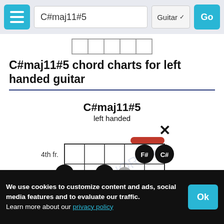C#maj11#5 | Guitar | Go
C#maj11#5 chord charts for left handed guitar
[Figure (other): Guitar chord diagram for C#maj11#5 left handed. Shows a fretboard with dots at: 4th fr. - F# and C# (barred, strings 2 and 1), 5th fr. - A (string 6) and C (string 4), 6th fr. - F (string 5), 7th fr. - grey dot (string 4). String 1 is marked X (muted). Red barre bar across strings 1-2 at 4th fret.]
We use cookies to customize content and ads, social media features and to evaluate our traffic.
Learn more about our privacy policy